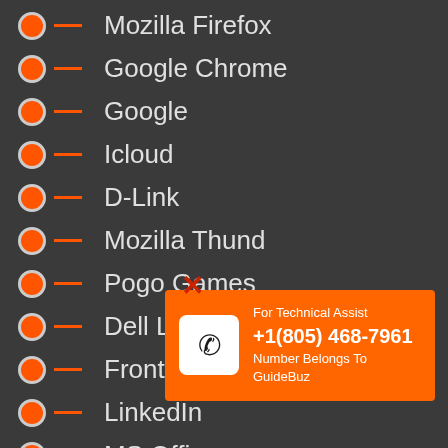Mozilla Firefox
Google Chrome
Google
Icloud
D-Link
Mozilla Thund…
Pogo Games
Dell Laptop
Frontier Email
LinkedIn
MS Office
Pinterest
[Figure (infographic): Orange popup box with phone icon and text: For Technical Assist +1(805) 468-7961 Number Belongs To GuideBuz, with a red X close button]